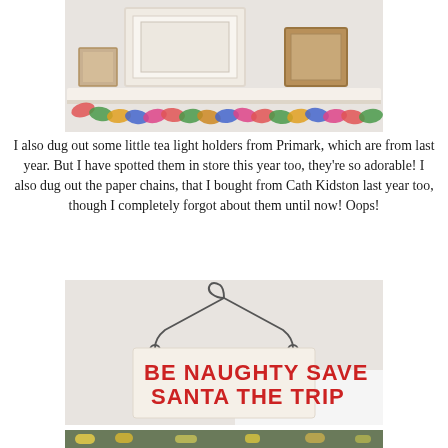[Figure (photo): A white wall shelf with framed pictures and a colorful polka-dot paper chain garland draped below it.]
I also dug out some little tea light holders from Primark, which are from last year. But I have spotted them in store this year too, they're so adorable! I also dug out the paper chains, that I bought from Cath Kidston last year too, though I completely forgot about them until now! Oops!
[Figure (photo): A hanging white wooden sign with red text reading 'BE NAUGHTY SAVE SANTA THE TRIP', suspended by a wire hanger.]
[Figure (photo): Partial view of a third photograph at the bottom of the page.]